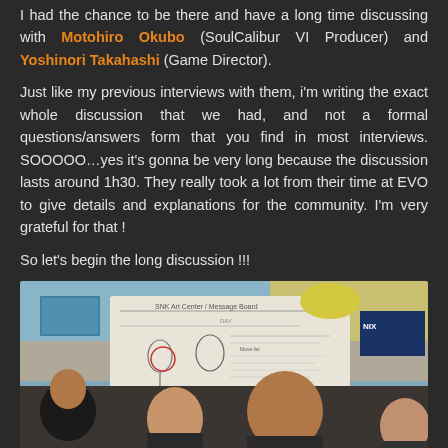I had the chance to be there and have a long time discussing with Motohiro Okubo (SoulCalibur VI Producer) and Yoshinori Takahashi (Game Director).
Just like my previous interviews with them, i'm writing the exact whole discussion that we had, and not a formal questions/answers form that you find in most interviews. SOOOOO…yes it's gonna be very long because the discussion lasts around 1h30. They really took a lot from their time at EVO to give details and explanations for the community. I'm very grateful for that !

So let's begin the long discussion !!!
[Figure (photo): Photo of people at what appears to be EVO gaming event, posing in front of a message/illustration board. Two people visible in foreground, one holding up a large illustrated board. Background shows event venue.]